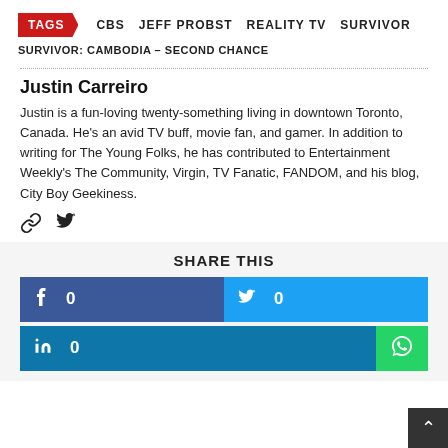TAGS  CBS  JEFF PROBST  REALITY TV  SURVIVOR
SURVIVOR: CAMBODIA – SECOND CHANCE
Justin Carreiro
Justin is a fun-loving twenty-something living in downtown Toronto, Canada. He's an avid TV buff, movie fan, and gamer. In addition to writing for The Young Folks, he has contributed to Entertainment Weekly's The Community, Virgin, TV Fanatic, FANDOM, and his blog, City Boy Geekiness.
SHARE THIS
f 0
0
in 0